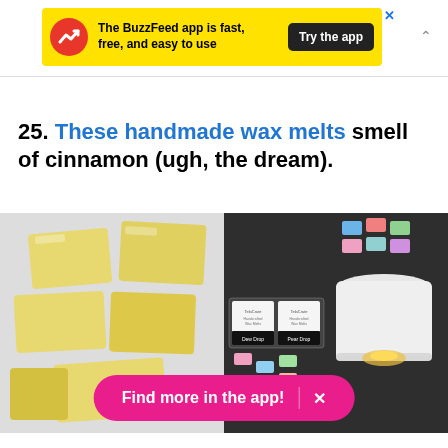[Figure (screenshot): BuzzFeed app advertisement banner in yellow with red BuzzFeed logo, text 'The BuzzFeed app is fast, free, and easy to use', and a black 'Try the app' button]
25. These handmade wax melts smell of cinnamon (ugh, the dream).
[Figure (photo): Two photos side by side: left shows yellow wax melt blocks on a white surface; right shows colorful wax melts and a wax warmer with a lit candle]
Find more in the app! X